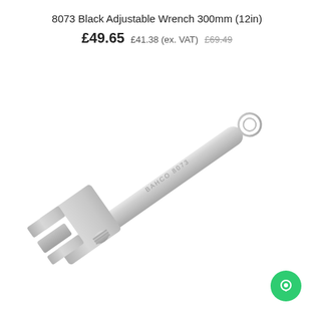8073 Black Adjustable Wrench 300mm (12in)
£49.65 £41.38 (ex. VAT) £69.49
[Figure (photo): A silver/chrome adjustable wrench (Bahco 8073) photographed diagonally on a white background. The wrench head with adjustable jaw is at the upper left and the handle extends to the lower right, with a circular hole at the end of the handle. The text BAHCO 8073 is embossed on the handle.]